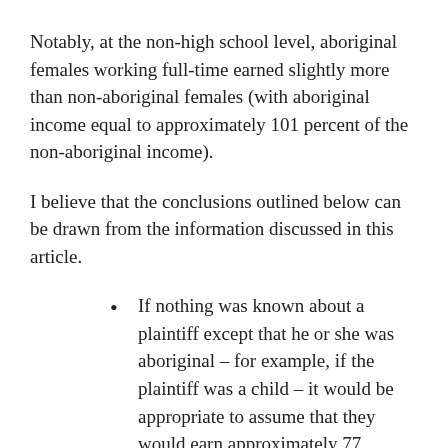Notably, at the non-high school level, aboriginal females working full-time earned slightly more than non-aboriginal females (with aboriginal income equal to approximately 101 percent of the non-aboriginal income).
I believe that the conclusions outlined below can be drawn from the information discussed in this article.
If nothing was known about a plaintiff except that he or she was aboriginal – for example, if the plaintiff was a child – it would be appropriate to assume that they would earn approximately 77 percent as much as a non-aboriginal for males, and approximately 82 percent as